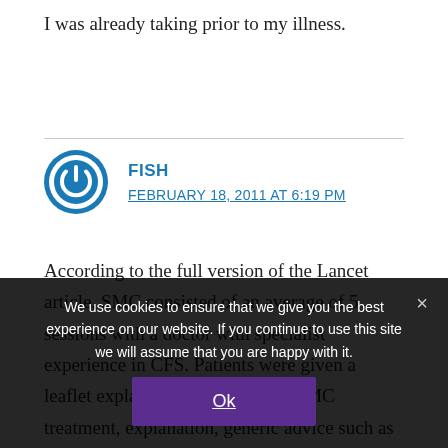I was already taking prior to my illness.
FISH
FEBRUARY 18, 2011 AT 6:19 PM
According to the full version of the Lancet article, SMC consisted of an average of 5 sessions with a doctor with specialist experience in CFS. Patients were given a leaflet explaining the illness and SMC treatment, explanation, generic advice such as to avoid extremes of activity and rest, specific advice on self-help, and symptomatic drugs
We use cookies to ensure that we give you the best experience on our website. If you continue to use this site we will assume that you are happy with it.